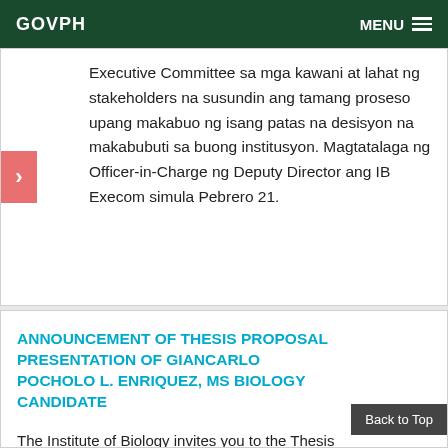GOVPH  MENU
Executive Committee sa mga kawani at lahat ng stakeholders na susundin ang tamang proseso upang makabuo ng isang patas na desisyon na makabubuti sa buong institusyon. Magtatalaga ng Officer-in-Charge ng Deputy Director ang IB Execom simula Pebrero 21.
ANNOUNCEMENT OF THESIS PROPOSAL PRESENTATION OF GIANCARLO POCHOLO L. ENRIQUEZ, MS BIOLOGY CANDIDATE
The Institute of Biology invites you to the Thesis Proposal Presentation of GIANCARLO POCHOLO